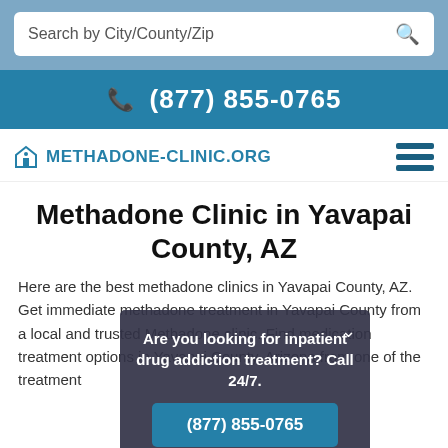Search by City/County/Zip
(877) 855-0765
Methadone-Clinic.org
Methadone Clinic in Yavapai County, AZ
Here are the best methadone clinics in Yavapai County, AZ. Get immediate methadone treatment in Yavapai County from a local and trusted Methadone clinic. Find medication treatment options in Yavapai County, Arizona from one of the treatment
Are you looking for inpatient drug addiction treatment? Call 24/7.
(877) 855-0765